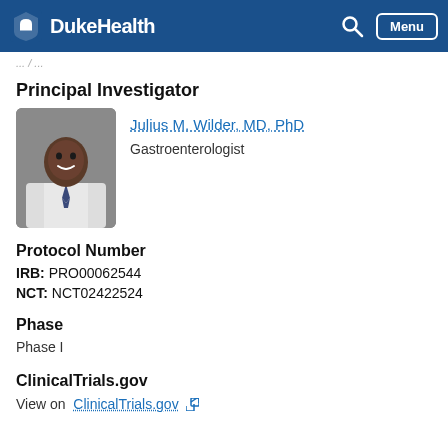DukeHealth
Principal Investigator
[Figure (photo): Professional headshot of Julius M. Wilder, MD, PhD, a gastroenterologist, wearing a white coat and tie, smiling.]
Julius M. Wilder, MD, PhD
Gastroenterologist
Protocol Number
IRB: PRO00062544
NCT: NCT02422524
Phase
Phase I
ClinicalTrials.gov
View on  ClinicalTrials.gov ↗